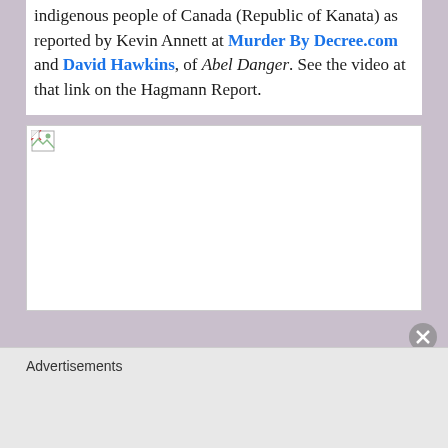indigenous people of Canada (Republic of Kanata) as reported by Kevin Annett at Murder By Decree.com and David Hawkins, of Abel Danger. See the video at that link on the Hagmann Report.
[Figure (photo): Broken image placeholder — image failed to load, shown as a small broken image icon in the top-left of a white rectangle]
Advertisements